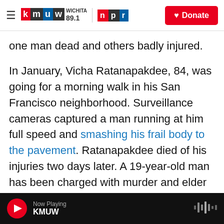KMUW Wichita 89.1 | NPR | Donate
one man dead and others badly injured.
In January, Vicha Ratanapakdee, 84, was going for a morning walk in his San Francisco neighborhood. Surveillance cameras captured a man running at him full speed and smashing his frail body to the pavement. Ratanapakdee died of his injuries two days later. A 19-year-old man has been charged with murder and elder abuse.
The issue has also caught the attention of President Biden, who signed a memorandum pledging to combat anti-Asian and Pacific Islander
Now Playing KMUW